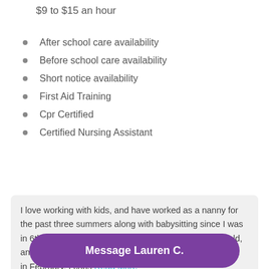$9 to $15 an hour
After school care availability
Before school care availability
Short notice availability
First Aid Training
Cpr Certified
Certified Nursing Assistant
I love working with kids, and have worked as a nanny for the past three summers along with babysitting since I was in 6th grade. I have watched kids ranged 3-12+ years old, and have a niece I absolutely love watching that turned 2 in February. I chos Read More
Message Lauren C.